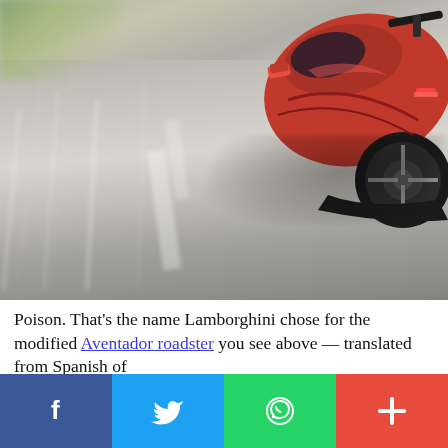[Figure (photo): Aerial/rear-angle view of a red Lamborghini Aventador roadster speeding on a road, with motion blur on the road surface and surroundings, viewed from above and behind]
Poison. That's the name Lamborghini chose for the modified Aventador roadster you see above — translated from Spanish of
[Figure (infographic): Social sharing bar with four buttons: Facebook (blue, f icon), Twitter (light blue, bird icon), WhatsApp (green, phone icon), and a red plus/share button]